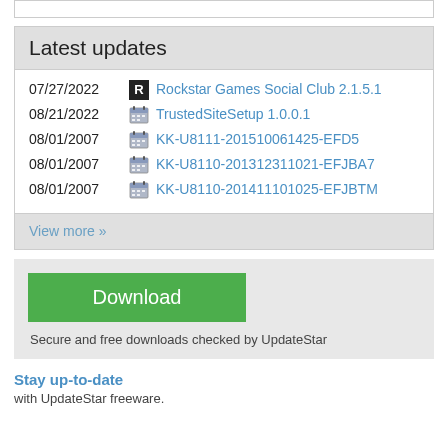Latest updates
07/27/2022 Rockstar Games Social Club 2.1.5.1
08/21/2022 TrustedSiteSetup 1.0.0.1
08/01/2007 KK-U8111-201510061425-EFD5
08/01/2007 KK-U8110-201312311021-EFJBA7
08/01/2007 KK-U8110-201411101025-EFJBTM
View more »
Download
Secure and free downloads checked by UpdateStar
Stay up-to-date
with UpdateStar freeware.